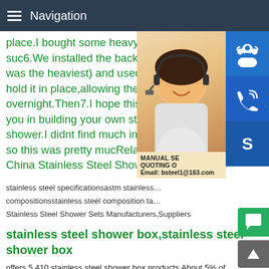Navigation
place.I bought some heavy d... suc6.We installed the back w... was the heaviest) and used p... hold it in place,allowing the gl... overnight.Then7.I hope this a... you in building your own stain... shower.I didnt find much infor... so this was pretty mucRelated... China Stainless Steel Shower
[Figure (photo): Woman with headset customer service photo with blue icon buttons (headset, phone, Skype) on the right side, and an overlay box showing MANUAL SE..., QUOTING O..., Email: bsteel1@163.com]
stainless steel specificationsastm stainless...
compositionsstainless steel composition ta...
Stainless Steel Shower Sets Manufacturers,Suppliers
stainless steel shower box,stainless steel shower box
offers 5,410 stainless steel shower box products.About 5% of
are Shower Rooms,0% are Shower Doors.A wide variety of